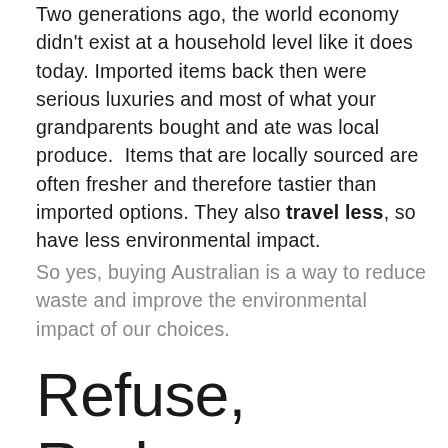Two generations ago, the world economy didn't exist at a household level like it does today. Imported items back then were serious luxuries and most of what your grandparents bought and ate was local produce.  Items that are locally sourced are often fresher and therefore tastier than imported options. They also travel less, so have less environmental impact.
So yes, buying Australian is a way to reduce waste and improve the environmental impact of our choices.
Refuse, Reduce, Reuse, Recycle